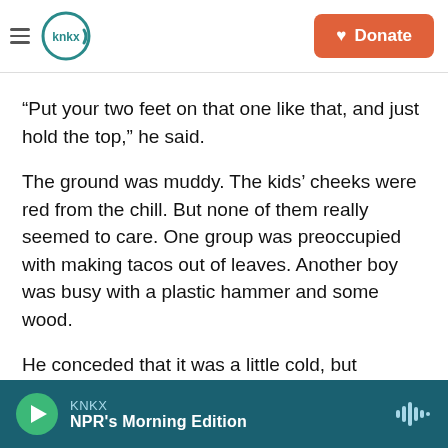KNKX | Donate
“Put your two feet on that one like that, and just hold the top,” he said.
The ground was muddy. The kids’ cheeks were red from the chill. But none of them really seemed to care. One group was preoccupied with making tacos out of leaves. Another boy was busy with a plastic hammer and some wood.
He conceded that it was a little cold, but explained that he felt fine because he was wearing gloves, a jacket and boots.
KNKX — NPR’s Morning Edition